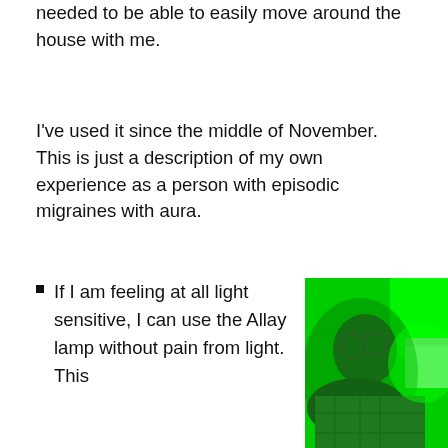needed to be able to easily move around the house with me.
I've used it since the middle of November. This is just a description of my own experience as a person with episodic migraines with aura.
If I am feeling at all light sensitive, I can use the Allay lamp without pain from light. This
[Figure (photo): Person wearing glasses and a plaid shirt illuminated by bright green light, looking upward. A green lamp or light source is visible in the upper right corner of the image.]